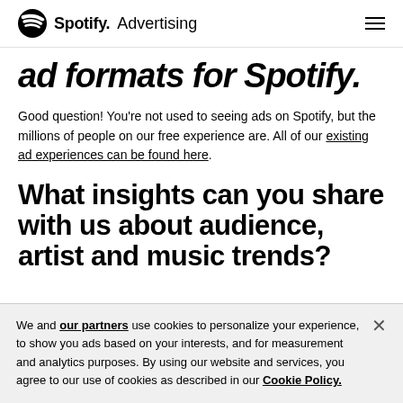Spotify Advertising
ad formats for Spotify.
Good question! You're not used to seeing ads on Spotify, but the millions of people on our free experience are. All of our existing ad experiences can be found here.
What insights can you share with us about audience, artist and music trends?
We and our partners use cookies to personalize your experience, to show you ads based on your interests, and for measurement and analytics purposes. By using our website and services, you agree to our use of cookies as described in our Cookie Policy.